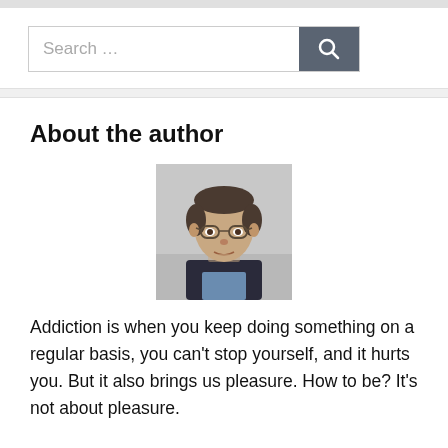Search …
About the author
[Figure (photo): Headshot photo of a middle-aged man with glasses, dark hair peppered with grey, wearing a dark jacket over a blue shirt, against a light grey background.]
Addiction is when you keep doing something on a regular basis, you can't stop yourself, and it hurts you. But it also brings us pleasure. How to be? It's not about pleasure.